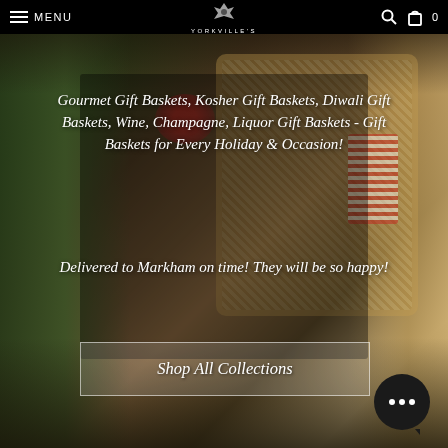MENU  YORKVILLE'S  0
[Figure (photo): Hero banner photo of gourmet gift baskets with wicker basket, red checkered bow, fresh flowers (red roses), pasta, and greenery in an outdoor setting.]
Gourmet Gift Baskets, Kosher Gift Baskets, Diwali Gift Baskets, Wine, Champagne, Liquor Gift Baskets - Gift Baskets for Every Holiday & Occasion!
Delivered to Markham on time! They will be so happy!
Shop All Collections